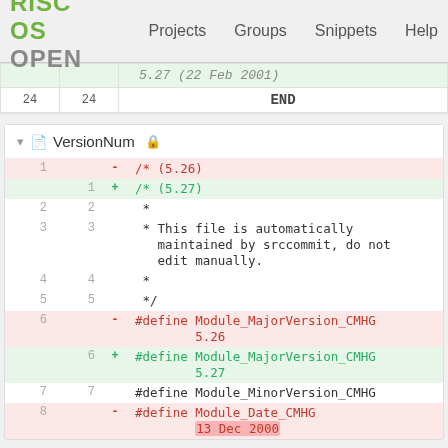RISC OS OPEN  Projects  Groups  Snippets  Help
| old | new | code |
| --- | --- | --- |
|  |  | 5.27 (22 Feb 2001) |
| 24 | 24 | END |
VersionNum
| old line | new line | diff | code |
| --- | --- | --- | --- |
| 1 |  | - | /* (5.26) |
|  | 1 | + | /* (5.27) |
| 2 | 2 |  |  * |
| 3 | 3 |  |  * This file is automatically maintained by srccommit, do not edit manually. |
| 4 | 4 |  |  * |
| 5 | 5 |  |  */ |
| 6 |  | - | #define Module_MajorVersion_CMHG
        5.26 |
|  | 6 | + | #define Module_MajorVersion_CMHG
        5.27 |
| 7 | 7 |  | #define Module_MinorVersion_CMHG |
| 8 |  | - | #define Module_Date_CMHG
        13 Dec 2000 |